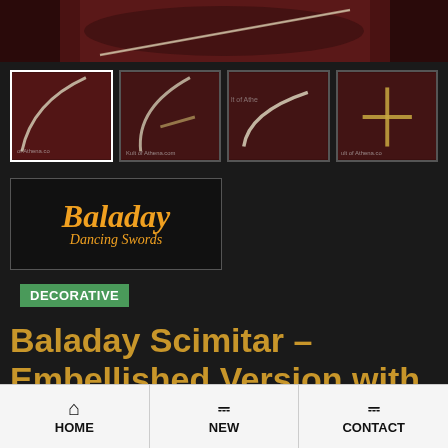[Figure (photo): Top cropped photo of a scimitar sword on a dark red decorative background]
[Figure (photo): Four thumbnail images of a scimitar sword from different angles on red decorative fabric background, with watermark text 'Kult of Athena.com']
[Figure (logo): Baladay Dancing Swords logo in gold italic script on black background]
DECORATIVE
Baladay Scimitar – Embellished Version with
HOME   NEW   CONTACT